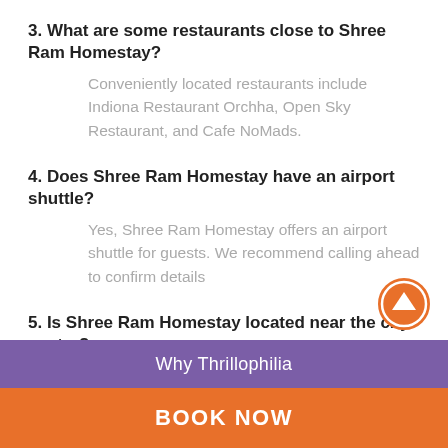3. What are some restaurants close to Shree Ram Homestay?
Conveniently located restaurants include Indiona Restaurant Orchha, Open Sky Restaurant, and Cafe NoMads.
4. Does Shree Ram Homestay have an airport shuttle?
Yes, Shree Ram Homestay offers an airport shuttle for guests. We recommend calling ahead to confirm details
5. Is Shree Ram Homestay located near the city centre?
Yes, it is 0.6 km away from the centre of Orchha.
[Figure (other): Orange circular scroll-to-top button with upward arrow]
Why Thrillophilia
BOOK NOW